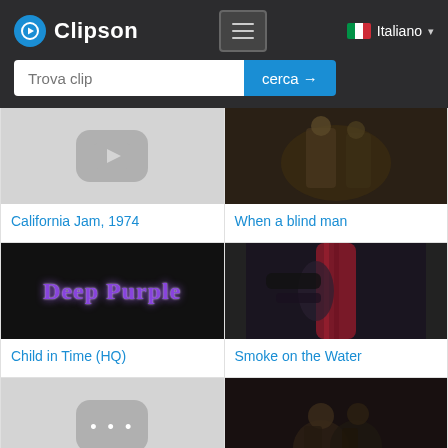Clipson — Trova clip cerca →  Italiano
[Figure (screenshot): Thumbnail: gray placeholder for California Jam, 1974 clip]
California Jam, 1974
[Figure (screenshot): Thumbnail: concert photo for 'When a blind man' clip]
When a blind man
[Figure (screenshot): Thumbnail: Deep Purple logo on dark background for Child in Time (HQ)]
Child in Time (HQ)
[Figure (screenshot): Thumbnail: guitarist playing guitar for Smoke on the Water clip]
Smoke on the Water
[Figure (screenshot): Thumbnail: gray placeholder with dots for Loosen My Strings clip]
Loosen My Strings
[Figure (screenshot): Thumbnail: concert film photo for Gettin' Tighter Film clip]
Gettin' Tighter Film